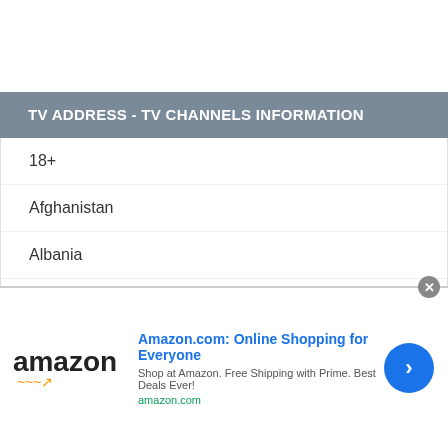TV ADDRESS - TV CHANNELS INFORMATION
18+
Afghanistan
Albania
Algeria
Andorra
Angola
[Figure (infographic): Amazon.com advertisement banner. Shows Amazon logo on the left, headline 'Amazon.com: Online Shopping for Everyone', subtext 'Shop at Amazon. Free Shipping with Prime. Best Deals Ever!', URL 'amazon.com', and a blue circular arrow button on the right. A close (X) button appears in the top right.]